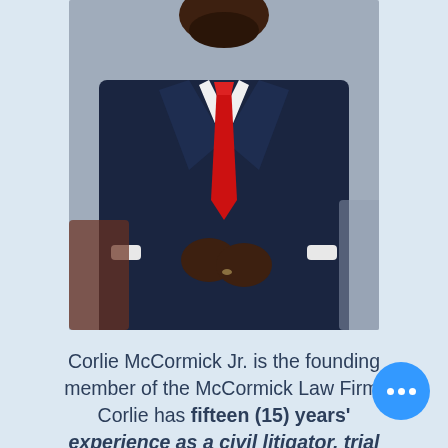[Figure (photo): A man in a dark navy suit with a red tie, adjusting his jacket buttons, photographed from chest up.]
Corlie McCormick Jr. is the founding member of the McCormick Law Firm. Corlie has fifteen (15) years' experience as a civil litigator, trial attorney, appellate advocate, and legal